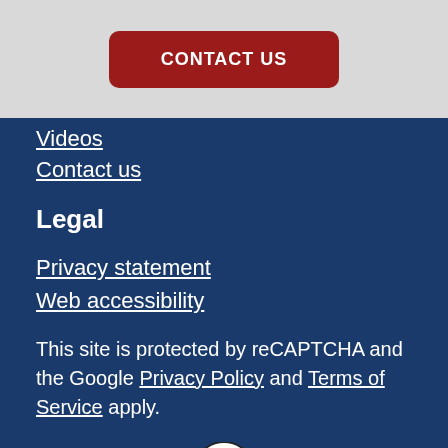[Figure (other): Red rounded rectangle button with white bold uppercase text 'CONTACT US' on a light grey background]
Videos
Contact us
Legal
Privacy statement
Web accessibility
This site is protected by reCAPTCHA and the Google Privacy Policy and Terms of Service apply.
[Figure (logo): CAPS logo - circular badge shape with 'CAPS' text inside a house/shield outline]